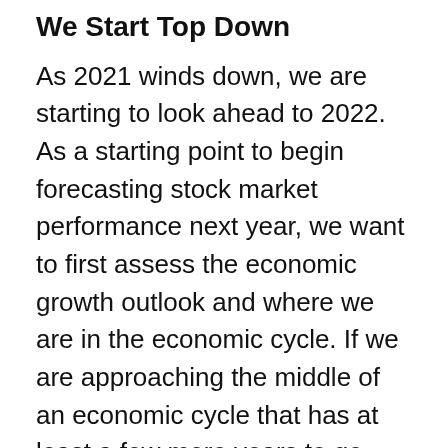We Start Top Down
As 2021 winds down, we are starting to look ahead to 2022. As a starting point to begin forecasting stock market performance next year, we want to first assess the economic growth outlook and where we are in the economic cycle. If we are approaching the middle of an economic cycle that has at least a few more years to go (our view), then we believe the chances of another good year for stocks in 2022 are fairly high. Mid-cycle simply means